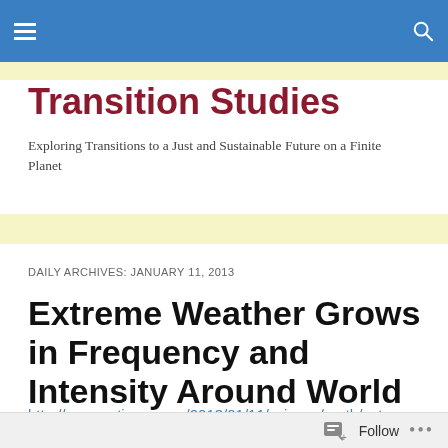Transition Studies — navigation header
Transition Studies
Exploring Transitions to a Just and Sustainable Future on a Finite Planet
DAILY ARCHIVES: JANUARY 11, 2013
Extreme Weather Grows in Frequency and Intensity Around World
http://www.nytimes.com/2013/01/11/science/earth/extreme
Follow